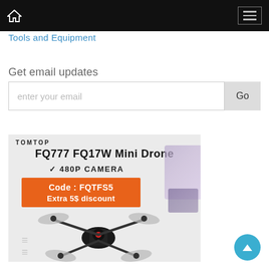Navigation bar with home icon and hamburger menu
Tools and Equipment
Get email updates
enter your email  Go
[Figure (photo): TOMTOP FQ777 FQ17W Mini Drone advertisement with 480P camera, orange discount code box showing 'Code: FQTFS5 Extra 5$ discount', and a photo of a small black quadcopter drone.]